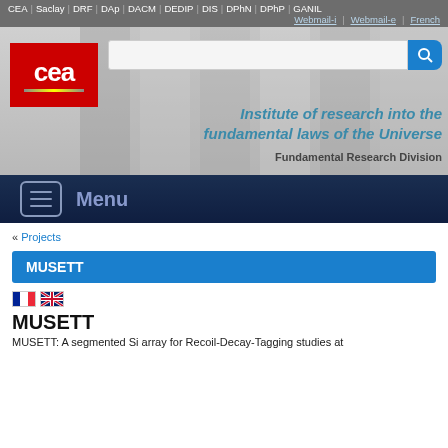CEA | Saclay | DRF | DAp | DACM | DEDIP | DIS | DPhN | DPhP | GANIL | Webmail-i | Webmail-e | French
[Figure (logo): CEA red logo with white text and yellow/grey horizontal line]
[Figure (screenshot): Search bar with blue search button and background photo of scientific equipment]
Institute of research into the fundamental laws of the Universe
Fundamental Research Division
Menu
« Projects
MUSETT
MUSETT
MUSETT: A segmented Si array for Recoil-Decay-Tagging studies at